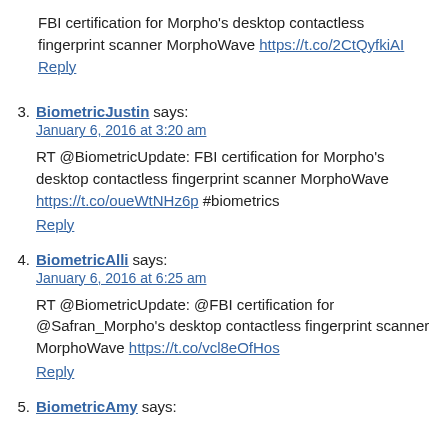FBI certification for Morpho's desktop contactless fingerprint scanner MorphoWave https://t.co/2CtQyfkiAI Reply
3. BiometricJustin says: January 6, 2016 at 3:20 am
RT @BiometricUpdate: FBI certification for Morpho's desktop contactless fingerprint scanner MorphoWave https://t.co/oueWtNHz6p #biometrics
Reply
4. BiometricAlli says: January 6, 2016 at 6:25 am
RT @BiometricUpdate: @FBI certification for @Safran_Morpho's desktop contactless fingerprint scanner MorphoWave https://t.co/vcl8eOfHos
Reply
5. BiometricAmy says: